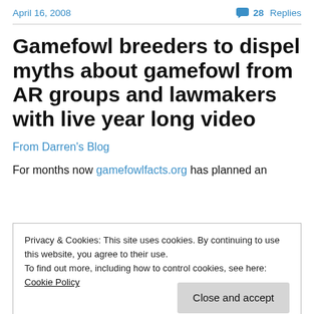April 16, 2008    💬 28 Replies
Gamefowl breeders to dispel myths about gamefowl from AR groups and lawmakers with live year long video
From Darren's Blog
For months now gamefowlfacts.org has planned an
Privacy & Cookies: This site uses cookies. By continuing to use this website, you agree to their use.
To find out more, including how to control cookies, see here: Cookie Policy
Close and accept